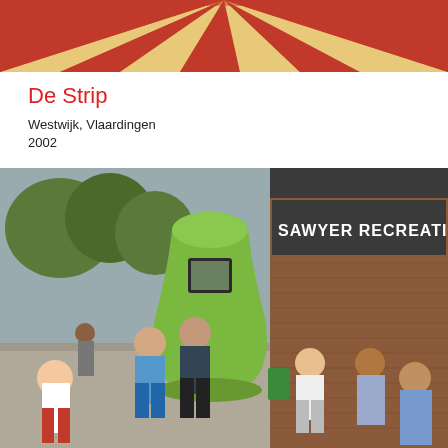[Figure (photo): Top portion of a colorful mural with orange, white and red radiating stripes, partially cropped at the top of the page.]
De Strip
Westwijk, Vlaardingen
2002
[Figure (photo): Children gathered around a tall green sculptural kiosk with an embedded screen, standing outside a brick building labeled 'SAWYER RECREATION'. Trees visible in background, urban recreation area setting.]